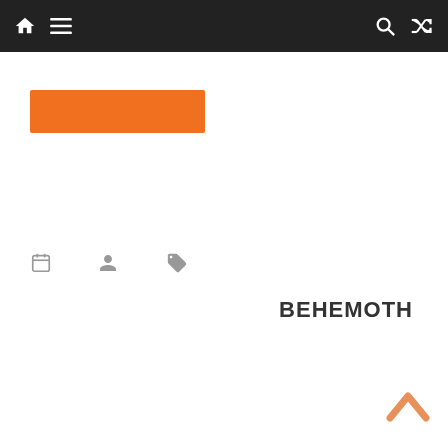[Figure (screenshot): Navigation bar with dark background, orange top accent, home icon, hamburger menu icon on the left, search icon and shuffle/random icon on the right]
[Figure (other): Orange rectangle button/label area]
[Figure (other): Row of three gray icons: calendar icon, person/user icon, tag/label icon]
BEHEMOTH
[Figure (other): Orange upward chevron/caret scroll-to-top button in bottom right corner]